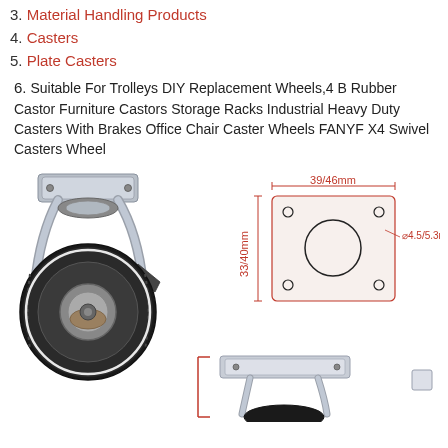3. Material Handling Products
4. Casters
5. Plate Casters
6. Suitable For Trolleys DIY Replacement Wheels,4 B Rubber Castor Furniture Castors Storage Racks Industrial Heavy Duty Casters With Brakes Office Chair Caster Wheels FANYF X4 Swivel Casters Wheel
[Figure (photo): Photo of a black rubber swivel caster wheel with brake mechanism and metal top plate]
[Figure (engineering-diagram): Technical diagram of mounting plate showing dimensions: 39/46mm width, 33/40mm height, 4.5/5.3mm hole size, with 4 corner holes and center circle]
[Figure (photo): Partial photo of caster wheel bottom view with mounting plate visible]